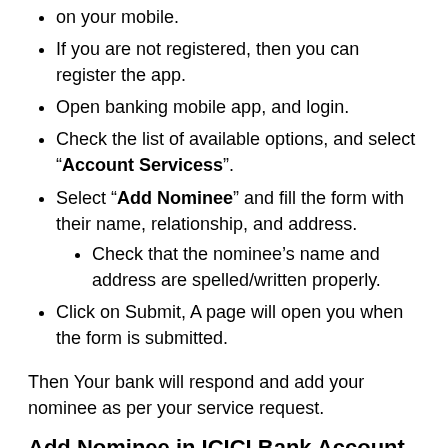on your mobile.
If you are not registered, then you can register the app.
Open banking mobile app, and login.
Check the list of available options, and select "Account Servicess".
Select "Add Nominee" and fill the form with their name, relationship, and address.
Check that the nominee’s name and address are spelled/written properly.
Click on Submit, A page will open you when the form is submitted.
Then Your bank will respond and add your nominee as per your service request.
Add Nominee in ICICI Bank Account